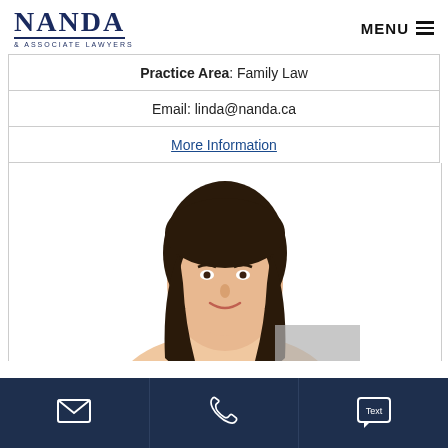NANDA & ASSOCIATE LAWYERS | MENU
Practice Area: Family Law
Email: linda@nanda.ca
More Information
[Figure (photo): Professional headshot of a woman with long dark hair, smiling, against a white background.]
Email icon | Phone icon | Text icon